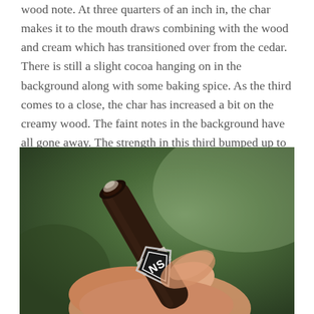wood note. At three quarters of an inch in, the char makes it to the mouth draws combining with the wood and cream which has transitioned over from the cedar. There is still a slight cocoa hanging on in the background along with some baking spice. As the third comes to a close, the char has increased a bit on the creamy wood. The faint notes in the background have all gone away. The strength in this third bumped up to slightly above medium.
[Figure (photo): A hand holding a dark brown cigar with a black and white diamond-shaped band featuring stylized lettering, against a blurred green outdoor background.]